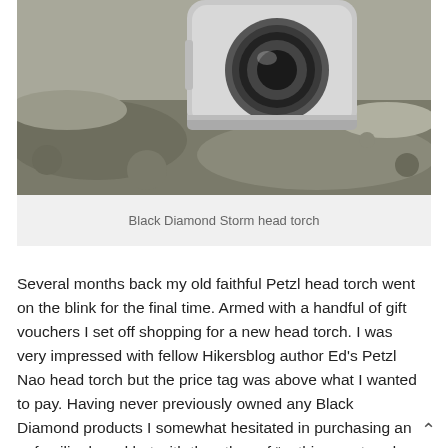[Figure (photo): Close-up photo of a Black Diamond Storm head torch resting on rocky ground, showing the front lens and metallic body]
Black Diamond Storm head torch
Several months back my old faithful Petzl head torch went on the blink for the final time. Armed with a handful of gift vouchers I set off shopping for a new head torch. I was very impressed with fellow Hikersblog author Ed's Petzl Nao head torch but the price tag was above what I wanted to pay. Having never previously owned any Black Diamond products I somewhat hesitated in purchasing an unfamiliar brand but with the ethos of “nothing ventured, nothing gained” I decided to buy the Black Diamond Storm head torch.